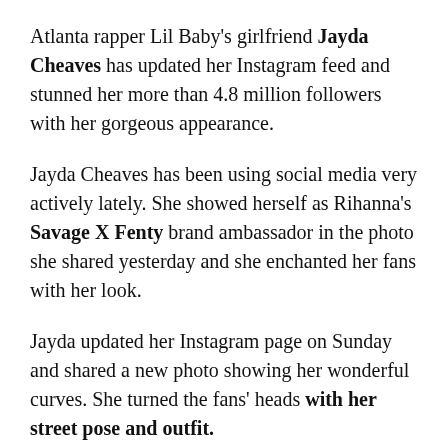Atlanta rapper Lil Baby's girlfriend Jayda Cheaves has updated her Instagram feed and stunned her more than 4.8 million followers with her gorgeous appearance.
Jayda Cheaves has been using social media very actively lately. She showed herself as Rihanna's Savage X Fenty brand ambassador in the photo she shared yesterday and she enchanted her fans with her look.
Jayda updated her Instagram page on Sunday and shared a new photo showing her wonderful curves. She turned the fans' heads with her street pose and outfit.
As you might see in the photo, the 23-year-old Instagram sensation showcased her toned abs and